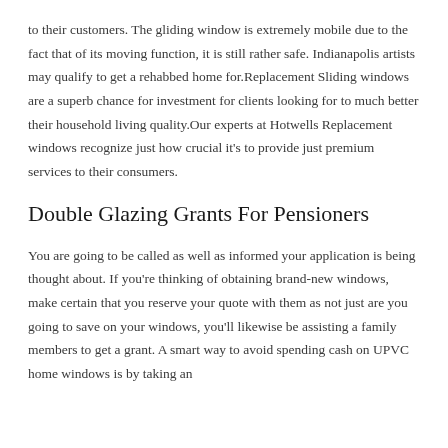to their customers. The gliding window is extremely mobile due to the fact that of its moving function, it is still rather safe. Indianapolis artists may qualify to get a rehabbed home for.Replacement Sliding windows are a superb chance for investment for clients looking for to much better their household living quality.Our experts at Hotwells Replacement windows recognize just how crucial it's to provide just premium services to their consumers.
Double Glazing Grants For Pensioners
You are going to be called as well as informed your application is being thought about. If you're thinking of obtaining brand-new windows, make certain that you reserve your quote with them as not just are you going to save on your windows, you'll likewise be assisting a family members to get a grant. A smart way to avoid spending cash on UPVC home windows is by taking an